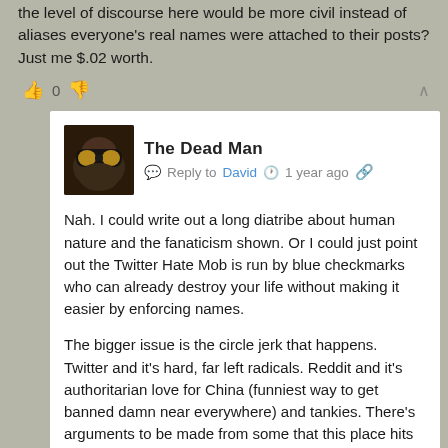the level of discourse here would be more civil instead of aliases everyone's real names were attached to their posts? Just me $.02 worth.
👍 0 👎
The Dead Man  Reply to David  1 year ago
Nah. I could write out a long diatribe about human nature and the fanaticism shown. Or I could just point out the Twitter Hate Mob is run by blue checkmarks who can already destroy your life without making it easier by enforcing names.
The bigger issue is the circle jerk that happens. Twitter and it's hard, far left radicals. Reddit and it's authoritarian love for China (funniest way to get banned damn near everywhere) and tankies. There's arguments to be made from some that this place hits that same problem. Bare minimum at least there's a few outliers and one resident propagandist showing